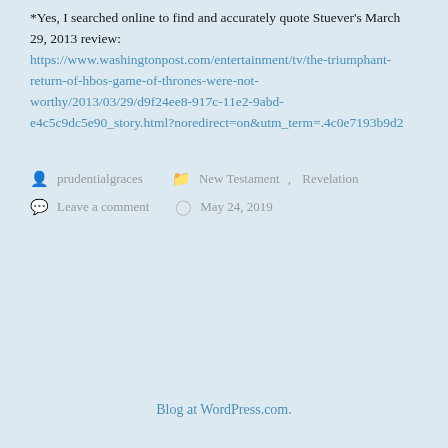*Yes, I searched online to find and accurately quote Stuever's March 29, 2013 review: https://www.washingtonpost.com/entertainment/tv/the-triumphant-return-of-hbos-game-of-thrones-were-not-worthy/2013/03/29/d9f24ee8-917c-11e2-9abd-e4c5c9dc5e90_story.html?noredirect=on&utm_term=.4c0e7193b9d2
prudentialgraces   New Testament, Revelation   Leave a comment   May 24, 2019
Blog at WordPress.com.